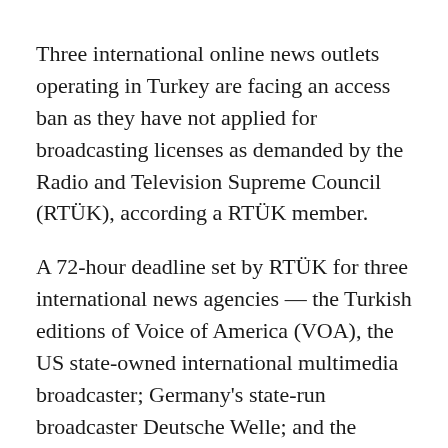Three international online news outlets operating in Turkey are facing an access ban as they have not applied for broadcasting licenses as demanded by the Radio and Television Supreme Council (RTÜK), according a RTÜK member.
A 72-hour deadline set by RTÜK for three international news agencies — the Turkish editions of Voice of America (VOA), the US state-owned international multimedia broadcaster; Germany's state-run broadcaster Deutsche Welle; and the Lyon-based Euronews — to apply for online broadcasting licenses, which began to run on Monday, has expired.
İlhan Taşçı, a RTÜK member from the main opposition Republican People's Party (CHP), tweeted on Friday that none of the three news outlets had applied for a broadcasting license